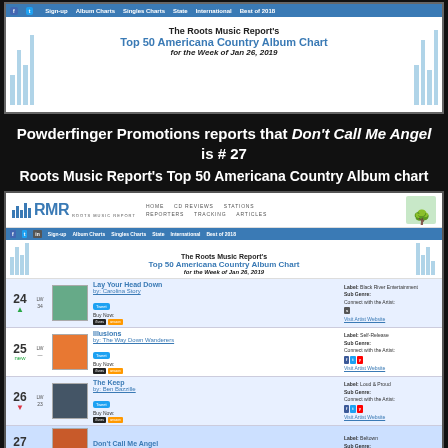[Figure (screenshot): Screenshot of Roots Music Report Top 50 Americana Country Album Chart for the Week of Jan 26, 2019 - top banner]
Powderfinger Promotions reports that Don't Call Me Angel is # 27
Roots Music Report's Top 50 Americana Country Album chart
[Figure (screenshot): Screenshot of Roots Music Report website showing chart positions 24-27 for week of Jan 26, 2019. #24 Lay Your Head Down by Carolina Story, #25 Illusions by The Way Down Wanderers, #26 The Keep by Ben Bazille, #27 Don't Call Me Angel by Hilary Scott]